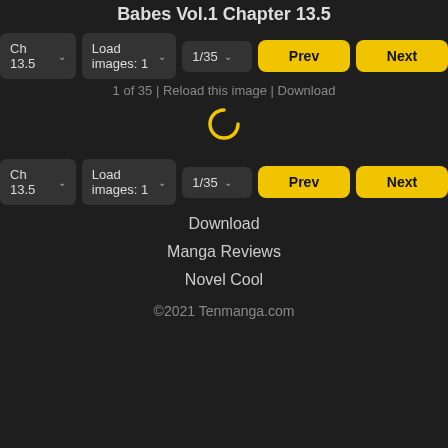Babes Vol.1 Chapter 13.5
Ch 13.5  Load images: 1  1/35  Prev  Next
1 of 35 | Reload this image | Download
[Figure (other): Loading spinner icon (letter C in yellow)]
Ch 13.5  Load images: 1  1/35  Prev  Next
Download
Manga Reviews
Novel Cool
©2021 Tenmanga.com